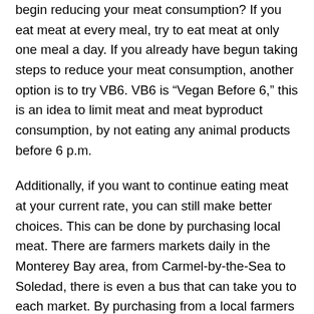begin reducing your meat consumption? If you eat meat at every meal, try to eat meat at only one meal a day. If you already have begun taking steps to reduce your meat consumption, another option is to try VB6. VB6 is “Vegan Before 6,” this is an idea to limit meat and meat byproduct consumption, by not eating any animal products before 6 p.m.
Additionally, if you want to continue eating meat at your current rate, you can still make better choices. This can be done by purchasing local meat. There are farmers markets daily in the Monterey Bay area, from Carmel-by-the-Sea to Soledad, there is even a bus that can take you to each market. By purchasing from a local farmers market, you’re limiting the resources spent to get that product to you and supporting smaller more sustainable farms.
So, whether you wanna go “cold turkey” and quit meat